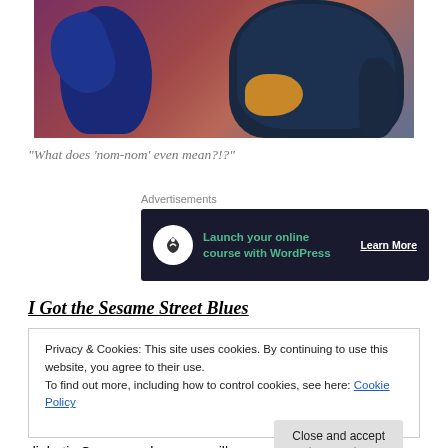[Figure (photo): Two blue Sesame Street muppet characters (Grover and Cookie Monster) photographed in front of a blurred colorful background. Cookie Monster appears to be holding an orange cookie.]
“What does ‘nom-nom’ even mean?!?”
[Figure (infographic): Advertisement banner with dark background showing 'Launch your online course with WordPress' with a white circular icon and 'Learn More' call to action.]
I Got the Sesame Street Blues
Privacy & Cookies: This site uses cookies. By continuing to use this website, you agree to their use.
To find out more, including how to control cookies, see here: Cookie Policy
diabetic Oreo-muncher, you spill some soup, toss out